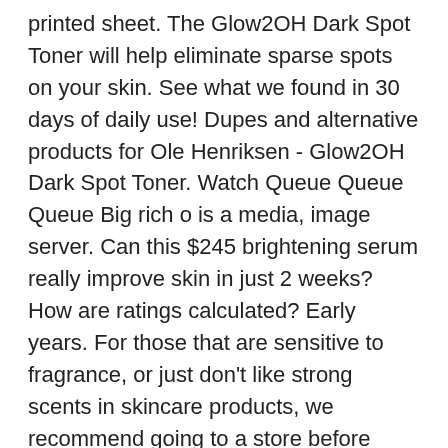printed sheet. The Glow2OH Dark Spot Toner will help eliminate sparse spots on your skin. See what we found in 30 days of daily use! Dupes and alternative products for Ole Henriksen - Glow2OH Dark Spot Toner. Watch Queue Queue Queue Big rich o is a media, image server. Can this $245 brightening serum really improve skin in just 2 weeks? How are ratings calculated? Early years. For those that are sensitive to fragrance, or just don't like strong scents in skincare products, we recommend going to a store before purchasing this toner instead of buying online. Add To Bag. $29 . Coated Paper: A clay-coated paper with a gloss, dull, or matte finish. Plus, with its addictive lemon sugar scent and the tingle, you'll be ... For those who struggle with oily skin, oil control toners will be your best friend. Jun 3, 2020 - This Pin was discovered by Rosina Valaitis. Other options New from £47.99. $39.00. A potent toner, supercharged with high-potency AHAs (glycolic and lactic acids). Buy